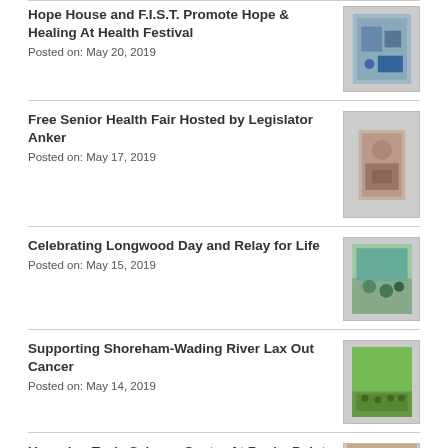Hope House and F.I.S.T. Promote Hope & Healing At Health Festival
Posted on: May 20, 2019
Free Senior Health Fair Hosted by Legislator Anker
Posted on: May 17, 2019
Celebrating Longwood Day and Relay for Life
Posted on: May 15, 2019
Supporting Shoreham-Wading River Lax Out Cancer
Posted on: May 14, 2019
Honoring Tesla Science Center At Rocky Point Lions Club Taste of LI
Posted on: May 10, 2019